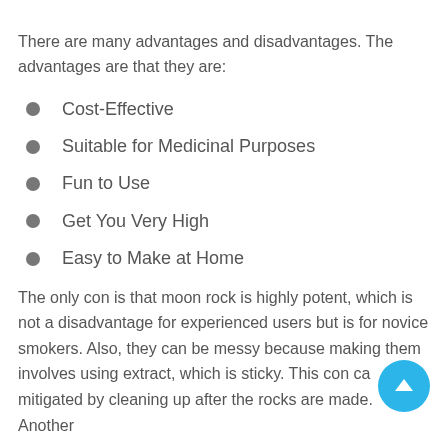There are many advantages and disadvantages. The advantages are that they are:
Cost-Effective
Suitable for Medicinal Purposes
Fun to Use
Get You Very High
Easy to Make at Home
The only con is that moon rock is highly potent, which is not a disadvantage for experienced users but is for novice smokers. Also, they can be messy because making them involves using extract, which is sticky. This con can be mitigated by cleaning up after the rocks are made. Another